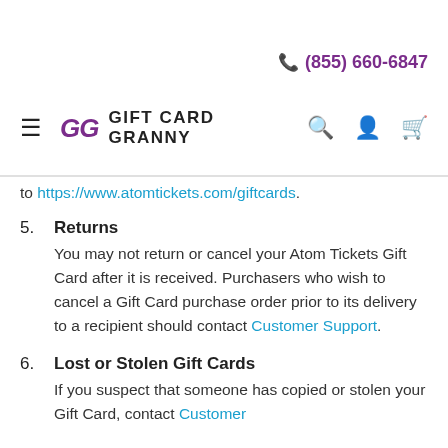(855) 660-6847 | GG GIFT CARD GRANNY
to https://www.atomtickets.com/giftcards.
5. Returns
You may not return or cancel your Atom Tickets Gift Card after it is received. Purchasers who wish to cancel a Gift Card purchase order prior to its delivery to a recipient should contact Customer Support.
6. Lost or Stolen Gift Cards
If you suspect that someone has copied or stolen your Gift Card, contact Customer